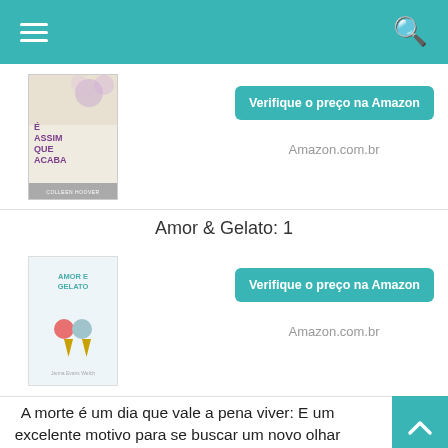Navigation bar with menu and search
[Figure (photo): Book cover: É Assim que Acaba by Colleen Hoover]
Verifique o preço na Amazon
Amazon.com.br
Amor & Gelato: 1
[Figure (photo): Book cover: Amor e Gelato]
Verifique o preço na Amazon
Amazon.com.br
A morte é um dia que vale a pena viver: E um excelente motivo para se buscar um novo olhar para a...
[Figure (photo): Book cover: A morte é um dia que vale a pena viver]
Verifique o preço na Amazon
Amazon.com.br